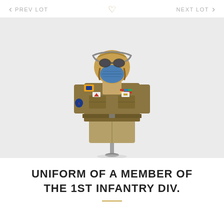PREV LOT   ♡   NEXT LOT
[Figure (photo): Photograph of a military uniform displayed on a mannequin. The mannequin wears a WWII-era US Army khaki/olive drab Ike jacket with insignia, patches, and medals on the chest. The mannequin also wears a leather aviator helmet, goggles, and a blue face mask. Khaki trousers are visible below the jacket. The background is light gray.]
UNIFORM OF A MEMBER OF THE 1ST INFANTRY DIV.